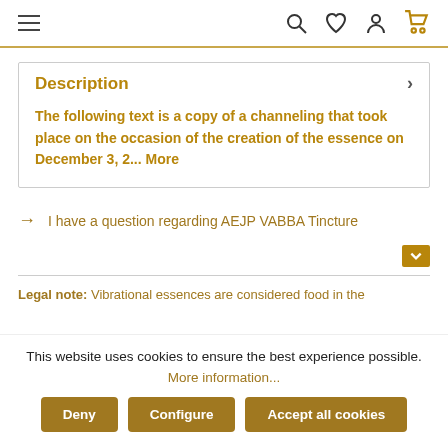Navigation bar with hamburger menu and icons: search, wishlist, account, cart
Description
The following text is a copy of a channeling that took place on the occasion of the creation of the essence on December 3, 2... More
→ I have a question regarding AEJP VABBA Tincture
Legal note: Vibrational essences are considered food in the
This website uses cookies to ensure the best experience possible. More information...
Deny | Configure | Accept all cookies